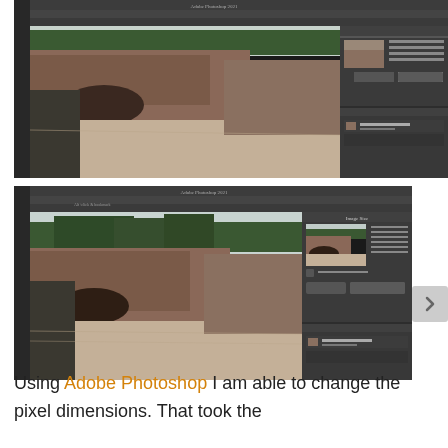[Figure (screenshot): Adobe Photoshop screenshot showing a landscape photo of red rocks, trees, and sandy beach, with Image Size dialog open in top-right and Layers panel visible]
[Figure (screenshot): Second Adobe Photoshop screenshot showing the same rock landscape from a different angle or zoom, with Image Size dialog open showing a thumbnail preview, and Layers panel below]
Using Adobe Photoshop I am able to change the pixel dimensions. That took the